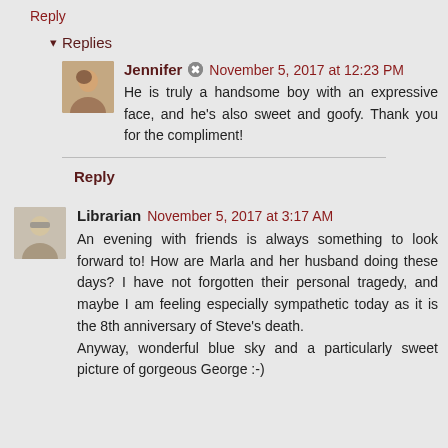Reply
▾ Replies
Jennifer ✏ November 5, 2017 at 12:23 PM
He is truly a handsome boy with an expressive face, and he's also sweet and goofy. Thank you for the compliment!
Reply
Librarian November 5, 2017 at 3:17 AM
An evening with friends is always something to look forward to! How are Marla and her husband doing these days? I have not forgotten their personal tragedy, and maybe I am feeling especially sympathetic today as it is the 8th anniversary of Steve's death.
Anyway, wonderful blue sky and a particularly sweet picture of gorgeous George :-)